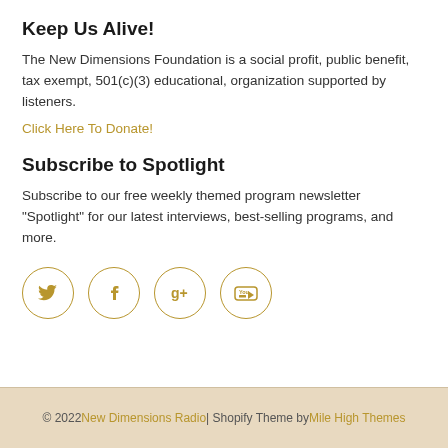Keep Us Alive!
The New Dimensions Foundation is a social profit, public benefit, tax exempt, 501(c)(3) educational, organization supported by listeners.
Click Here To Donate!
Subscribe to Spotlight
Subscribe to our free weekly themed program newsletter "Spotlight" for our latest interviews, best-selling programs, and more.
[Figure (infographic): Four circular social media icon buttons with golden outlines: Twitter (bird icon), Facebook (f), Google+ (g+), YouTube (play icon)]
© 2022 New Dimensions Radio | Shopify Theme by Mile High Themes